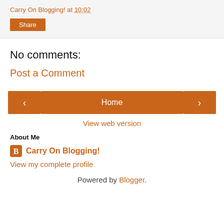Carry On Blogging! at 10:02
Share
No comments:
Post a Comment
< Home >
View web version
About Me
Carry On Blogging!
View my complete profile
Powered by Blogger.